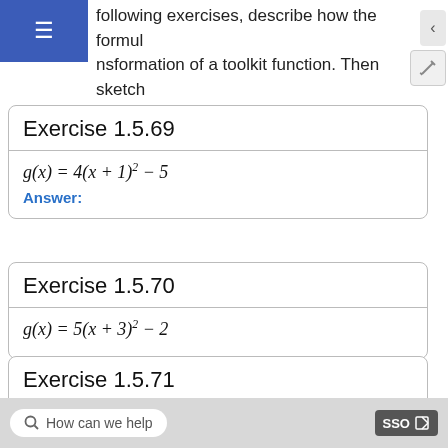following exercises, describe how the formula is a transformation of a toolkit function. Then sketch a graph of the transformation.
Exercise 1.5.69
Answer:
Exercise 1.5.70
Exercise 1.5.71
How can we help  SSO